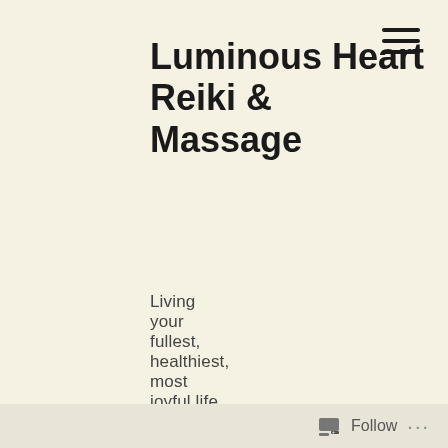Luminous Heart Reiki & Massage
Living your fullest, healthiest, most joyful life
Author: PamelaHipp
I'm a joyful mystic, Reiki Master Teacher, massage therapist, and yogini who enjoys a simple, natural, blissful life. I
Follow